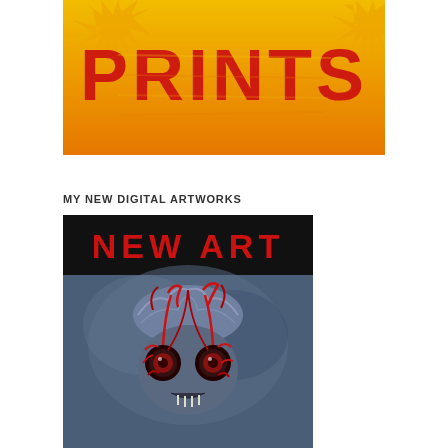[Figure (illustration): Banner image with bold red distressed text 'PRINTS' on a yellow/orange background with star burst shapes]
MY NEW DIGITAL ARTWORKS
[Figure (illustration): Digital artwork image with 'NEW ART' text in red on black banner at top, below is a dark surreal creature with exposed brain, red veins/arteries, and large red bulging eyes on a blue-grey background]